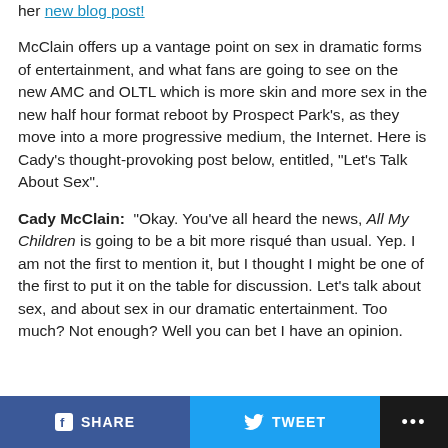her new blog post!
McClain offers up a vantage point on sex in dramatic forms of entertainment, and what fans are going to see on the new AMC and OLTL which is more skin and more sex in the new half hour format reboot by Prospect Park’s, as they move into a more progressive medium, the Internet. Here is Cady’s thought-provoking post below, entitled, “Let’s Talk About Sex”.
Cady McClain: “Okay. You’ve all heard the news, All My Children is going to be a bit more risqué than usual. Yep. I am not the first to mention it, but I thought I might be one of the first to put it on the table for discussion. Let’s talk about sex, and about sex in our dramatic entertainment. Too much? Not enough? Well you can bet I have an opinion.
SHARE  TWEET  ...